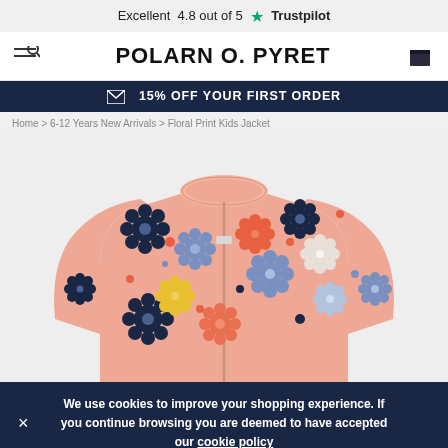Excellent 4.8 out of 5 ★ Trustpilot
POLARN O. PYRET
✉ 15% OFF YOUR FIRST ORDER
Home > 6-12 Years New Arrivals > Floral Print Kids Jacket
[Figure (photo): Floral Print Kids Jacket — a pink bomber-style jacket covered in colourful retro flower prints in navy, blue, orange, yellow, and white on a light peach background, shown from the front with a zip fastening.]
We use cookies to improve your shopping experience. If you continue browsing you are deemed to have accepted our cookie policy